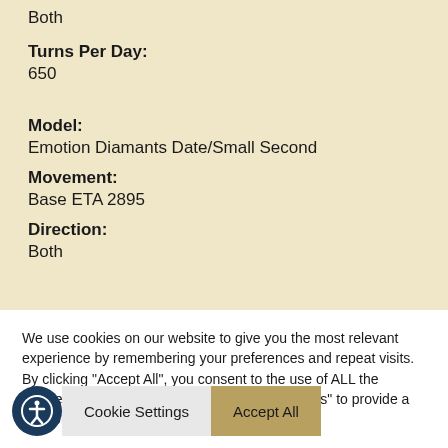Both
Turns Per Day: 650
Model: Emotion Diamants Date/Small Second
Movement: Base ETA 2895
Direction: Both
We use cookies on our website to give you the most relevant experience by remembering your preferences and repeat visits. By clicking "Accept All", you consent to the use of ALL the cookies. However, you may visit "Cookie Settings" to provide a controlled consent.